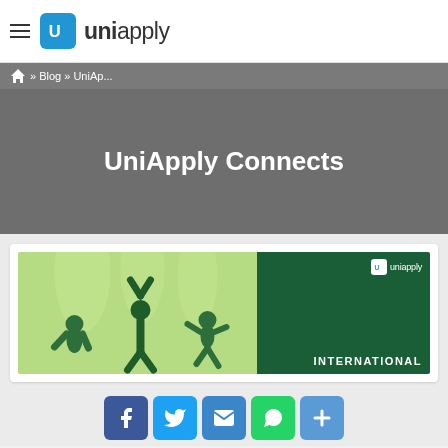UniApply — navbar with hamburger menu and logo
» Blog » UniAp...
UniApply Connects
[Figure (illustration): UniApply branded banner with green background showing silhouettes of people in yoga/active poses on light green left panel, dark green right panel with UniApply logo and text INTERNATIONAL]
Social share buttons: Facebook, Twitter, Email, WhatsApp, Share